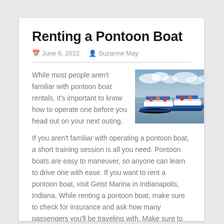Renting a Pontoon Boat
June 6, 2022   Suzanne May
[Figure (photo): Two blue and white pontoon boats on a calm lake with a cloudy sky in the background]
While most people aren't familiar with pontoon boat rentals, it's important to know how to operate one before you head out on your next outing. If you aren't familiar with operating a pontoon boat, a short training session is all you need. Pontoon boats are easy to maneuver, so anyone can learn to drive one with ease. If you want to rent a pontoon boat, visit Geist Marina in Indianapolis, Indiana. While renting a pontoon boat, make sure to check for insurance and ask how many passengers you'll be traveling with. Make sure to